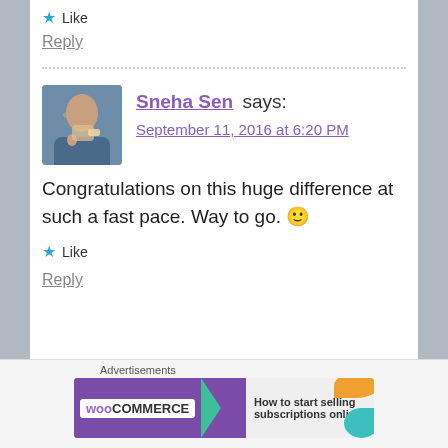★ Like
Reply
Sneha Sen says:
September 11, 2016 at 6:20 PM
Congratulations on this huge difference at such a fast pace. Way to go. 🙂
★ Like
Reply
[Figure (photo): Avatar photo of Sneha Sen, a person on a phone]
Advertisements
[Figure (screenshot): WooCommerce advertisement banner: How to start selling subscriptions online]